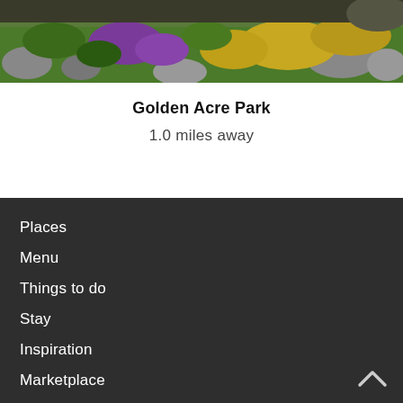[Figure (photo): Photograph of colorful alpine/rock garden flowers including purple and yellow flowering plants among rocks and greenery, partial view cropped at top]
Golden Acre Park
1.0 miles away
Places
Menu
Things to do
Stay
Inspiration
Marketplace